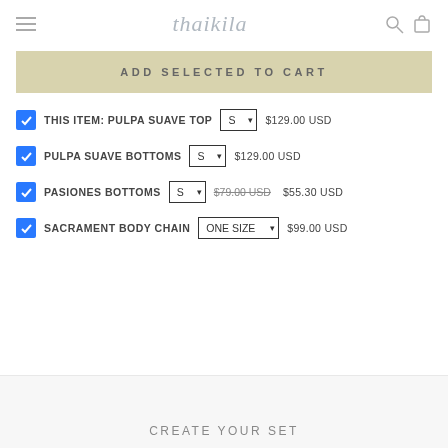thaikila
ADD SELECTED TO CART
THIS ITEM: PULPA SUAVE TOP  S  $129.00 USD
PULPA SUAVE BOTTOMS  S  $129.00 USD
PASIONES BOTTOMS  S  $79.00 USD  $55.30 USD
SACRAMENT BODY CHAIN  ONE SIZE  $99.00 USD
CREATE YOUR SET